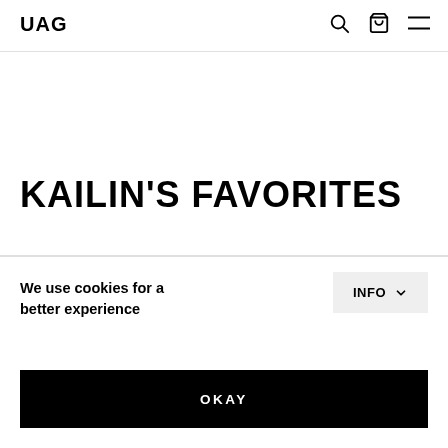UAG
KAILIN'S FAVORITES
We use cookies for a better experience
INFO
OKAY